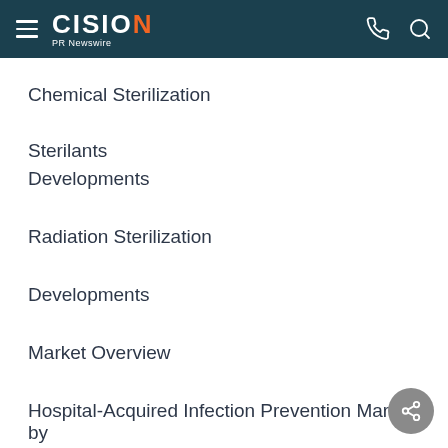CISION PR Newswire
Chemical Sterilization
Sterilants
Developments
Radiation Sterilization
Developments
Market Overview
Hospital-Acquired Infection Prevention Market by